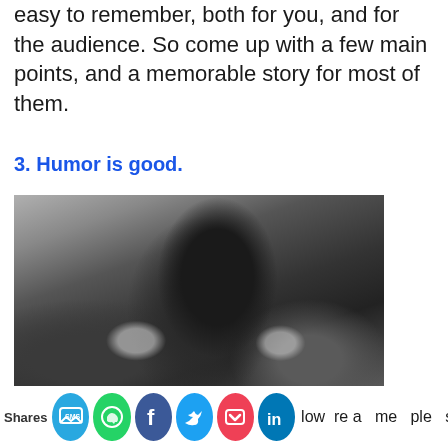easy to remember, both for you, and for the audience. So come up with a few main points, and a memorable story for most of them.
3. Humor is good.
[Figure (photo): Black and white photograph of a woman laughing and holding up a dark fabric (possibly a cape or jacket) around her, with tropical foliage in the background.]
low re a me ple sp ze